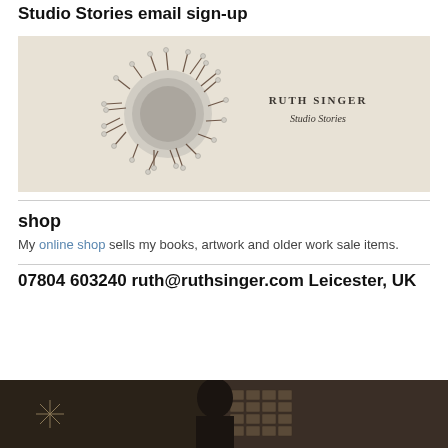Studio Stories email sign-up
[Figure (photo): Decorative textile/pin artwork showing a circular felt piece with pins radiating outward on a cream background, with 'RUTH SINGER Studio Stories' branding text on the right side]
shop
My online shop sells my books, artwork and older work sale items.
07804 603240 ruth@ruthsinger.com Leicester, UK
[Figure (photo): Dark photograph showing a person (Ruth Singer) in a studio/workshop setting with wooden storage drawers visible in the background]